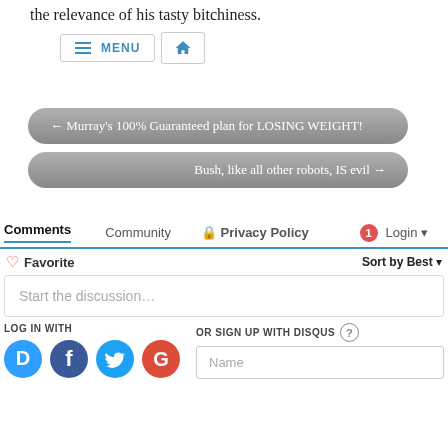the relevance of his tasty bitchiness.
[Figure (screenshot): Navigation bar with MENU button (hamburger icon, blue text) and home icon button]
[Figure (screenshot): Pill-shaped navigation button: ← Murray's 100% Guaranteed plan for LOSING WEIGHT!]
[Figure (screenshot): Pill-shaped navigation button: Bush, like all other robots, IS evil →]
[Figure (screenshot): Disqus comment section with tabs: Comments (active, underlined blue), Community, Privacy Policy (lock icon), Login (red badge 1). Favorite row with heart icon and Sort by Best dropdown. 'Start the discussion...' input box. LOG IN WITH social icons (Disqus D, Facebook f, Twitter bird, Google G). OR SIGN UP WITH DISQUS (?) and Name input field.]